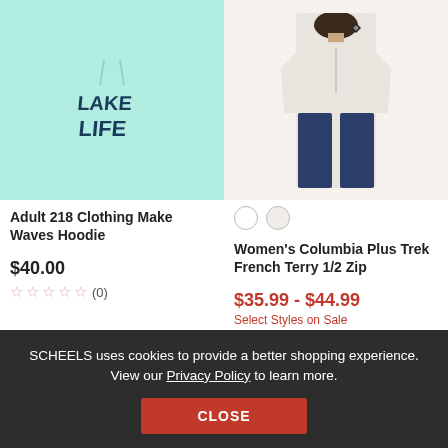[Figure (photo): Mint green long-sleeve hoodie with 'Lake Life' graphic text on front]
[Figure (photo): Woman wearing cream/off-white Columbia Plus Trek French Terry 1/2 Zip with navy pants]
Adult 218 Clothing Make Waves Hoodie
Women's Columbia Plus Trek French Terry 1/2 Zip
$40.00
☆☆☆☆☆ (0)
$35.99 - $44.99
Select Styles on Sale
SCHEELS uses cookies to provide a better shopping experience. View our Privacy Policy to learn more.
CLOSE